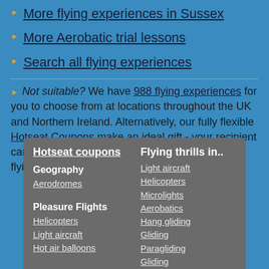More flying experiences in Sussex
More Aerobatic trial lessons
Search all flying experiences
Not suitable? We have 988 flying experiences for you to choose from at locations throughout the UK and Northern Ireland. Alternatively, our fully flexible Hotseat Coupons make an ideal gift - your recipient can use them to purchase or part-purchase any flying experience on our site.
Hotseat coupons | Geography | Aerodromes | Pleasure Flights | Helicopters | Light aircraft | Hot air balloons | Flying thrills in.. | Light aircraft | Helicopters | Microlights | Aerobatics | Hang gliding | Gliding | Paragliding | Gliding